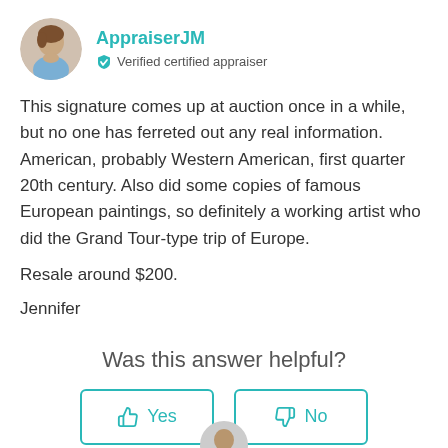AppraiserJM — Verified certified appraiser
This signature comes up at auction once in a while, but no one has ferreted out any real information. American, probably Western American, first quarter 20th century. Also did some copies of famous European paintings, so definitely a working artist who did the Grand Tour-type trip of Europe.
Resale around $200.
Jennifer
Was this answer helpful?
Yes
No